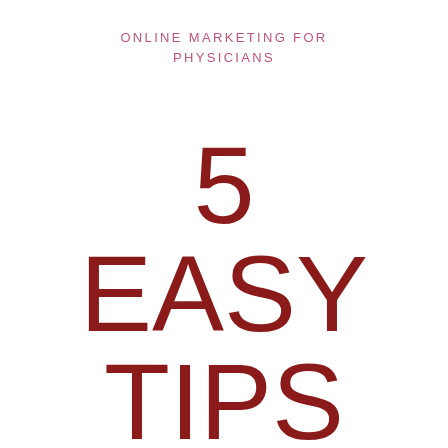ONLINE MARKETING FOR PHYSICIANS
5 EASY TIPS FOR PHYSIC…